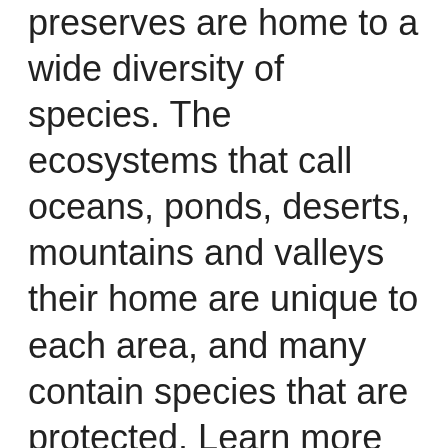preserves are home to a wide diversity of species. The ecosystems that call oceans, ponds, deserts, mountains and valleys their home are unique to each area, and many contain species that are protected. Learn more about these plants and animals, and what we're doing to protect them, on our Multiple Species Conservation Plan